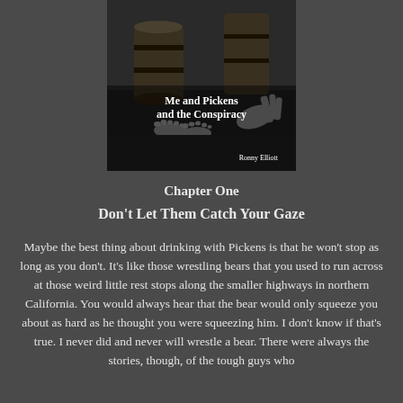[Figure (photo): Black and white book cover photo showing children's feet and a wooden barrel. Title reads 'Me and Pickens and the Conspiracy' by Ronny Elliott.]
Chapter One
Don't Let Them Catch Your Gaze
Maybe the best thing about drinking with Pickens is that he won't stop as long as you don't. It's like those wrestling bears that you used to run across at those weird little rest stops along the smaller highways in northern California. You would always hear that the bear would only squeeze you about as hard as he thought you were squeezing him. I don't know if that's true. I never did and never will wrestle a bear. There were always the stories, though, of the tough guys who